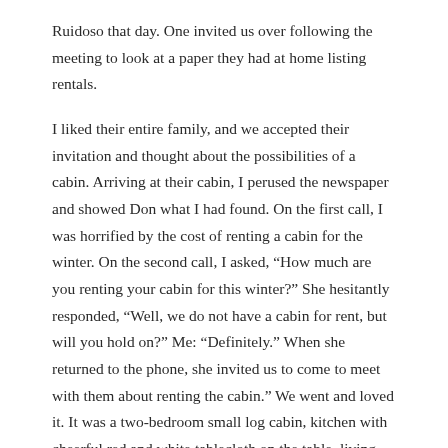Ruidoso that day. One invited us over following the meeting to look at a paper they had at home listing rentals.
I liked their entire family, and we accepted their invitation and thought about the possibilities of a cabin. Arriving at their cabin, I perused the newspaper and showed Don what I had found. On the first call, I was horrified by the cost of renting a cabin for the winter. On the second call, I asked, "How much are you renting your cabin for this winter?" She hesitantly responded, "Well, we do not have a cabin for rent, but will you hold on?" Me: "Definitely." When she returned to the phone, she invited us to come to meet with them about renting the cabin." We went and loved it. It was a two-bedroom small log cabin, kitchen with cheerful red and white tablecloth on the table, living room with a fireplace, rustic! The woman told me a story while we were in the